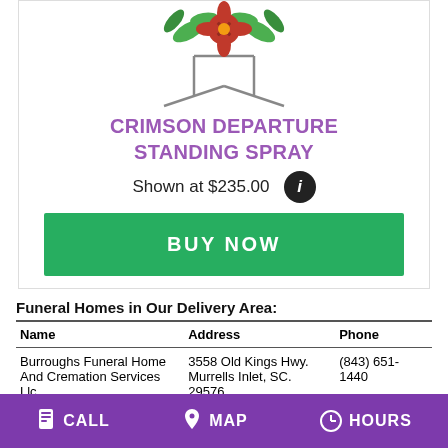[Figure (illustration): Floral arrangement illustration — crimson flower on a standing spray frame with green leaves, shown at top of product card]
CRIMSON DEPARTURE STANDING SPRAY
Shown at $235.00
Funeral Homes in Our Delivery Area:
| Name | Address | Phone |
| --- | --- | --- |
| Burroughs Funeral Home And Cremation Services Llc | 3558 Old Kings Hwy. Murrells Inlet, SC. 29576 | (843) 651-1440 |
| Goldfinch Funeral Homes | 11528 Highway 17 Byp Murrells Inlet, SC. 29576 | (843) 651-3295 |
CALL   MAP   HOURS